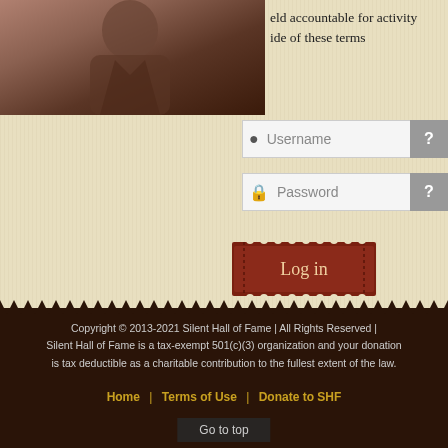[Figure (photo): Partial sepia-toned photograph of a person in the upper-left area]
eld accountable for activity
ide of these terms
Username
Password
Log in
Create an account →
Terms of Use
Copyright © 2013-2021 Silent Hall of Fame | All Rights Reserved | Silent Hall of Fame is a tax-exempt 501(c)(3) organization and your donation is tax deductible as a charitable contribution to the fullest extent of the law.
Home   |   Terms of Use   |   Donate to SHF
Go to top